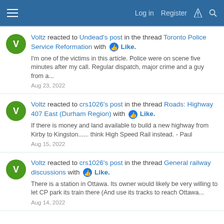☰  Log in  Register  ⚡  🔍
Voltz reacted to Undead's post in the thread Toronto Police Service Reformation with 👍 Like.
I'm one of the victims in this article. Police were on scene five minutes after my call. Regular dispatch, major crime and a guy from a...
Aug 23, 2022
Voltz reacted to crs1026's post in the thread Roads: Highway 407 East (Durham Region) with 👍 Like.
If there is money and land available to build a new highway from Kirby to Kingston...... think High Speed Rail instead. - Paul
Aug 15, 2022
Voltz reacted to crs1026's post in the thread General railway discussions with 👍 Like.
There is a station in Ottawa. Its owner would likely be very willing to let CP park its train there (And use its tracks to reach Ottawa...
Aug 14, 2022